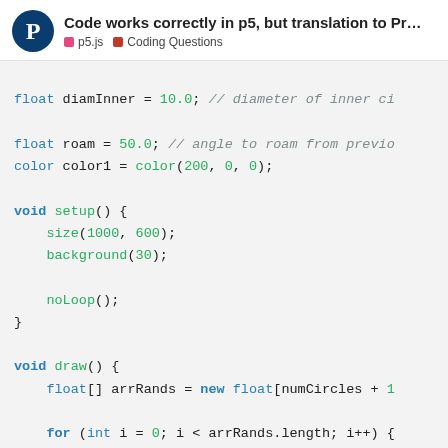Code works correctly in p5, but translation to Pr... | p5.js | Coding Questions
[Figure (screenshot): Code snippet in Processing/p5.js showing variable declarations, setup() and draw() functions with float arrays, loops, and function calls]
1 / 4